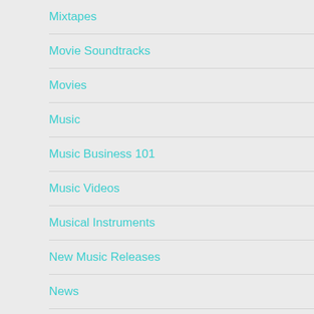Mixtapes
Movie Soundtracks
Movies
Music
Music Business 101
Music Videos
Musical Instruments
New Music Releases
News
Only In Japan
Photography
Pop Music